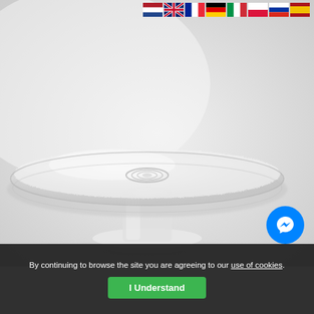[Figure (photo): A clear glass cake stand with a wide textured circular plate on top and a short cylindrical pedestal base, photographed against a light grey/white background.]
[Figure (other): Row of country flag icons: Netherlands, UK, France, Germany, Italy, Poland, Russia, Spain]
[Figure (other): Facebook Messenger circular blue icon in the bottom right corner]
By continuing to browse the site you are agreeing to our use of cookies.
I Understand